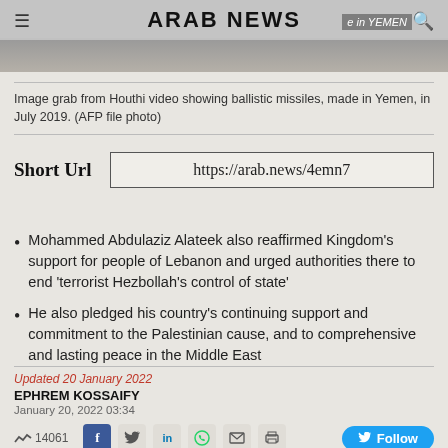[Figure (photo): Arab News website header with logo and a background photo of ballistic missiles made in Yemen]
Image grab from Houthi video showing ballistic missiles, made in Yemen, in July 2019. (AFP file photo)
Short Url   https://arab.news/4emn7
Mohammed Abdulaziz Alateek also reaffirmed Kingdom's support for people of Lebanon and urged authorities there to end 'terrorist Hezbollah's control of state'
He also pledged his country's continuing support and commitment to the Palestinian cause, and to comprehensive and lasting peace in the Middle East
Updated 20 January 2022
EPHREM KOSSAIFY
January 20, 2022 03:34
14061  Follow